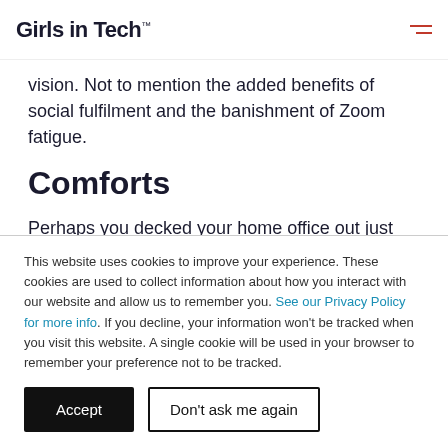Girls in Tech
vision. Not to mention the added benefits of social fulfilment and the banishment of Zoom fatigue.
Comforts
Perhaps you decked your home office out just the way you like it. On the other hand, your 'home office' could be a corner of the kitchen table and a set of noise cancelling
This website uses cookies to improve your experience. These cookies are used to collect information about how you interact with our website and allow us to remember you. See our Privacy Policy for more info. If you decline, your information won't be tracked when you visit this website. A single cookie will be used in your browser to remember your preference not to be tracked.